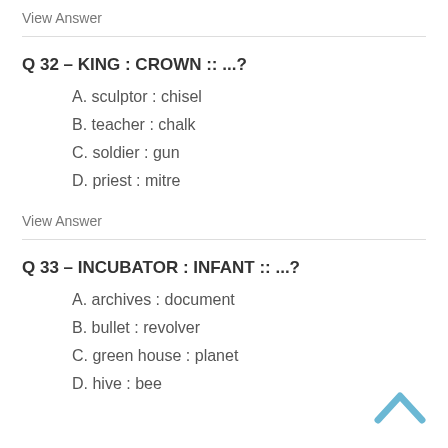View Answer
Q 32 – KING : CROWN :: ...?
A. sculptor : chisel
B. teacher : chalk
C. soldier : gun
D. priest : mitre
View Answer
Q 33 – INCUBATOR : INFANT :: ...?
A. archives : document
B. bullet : revolver
C. green house : planet
D. hive : bee